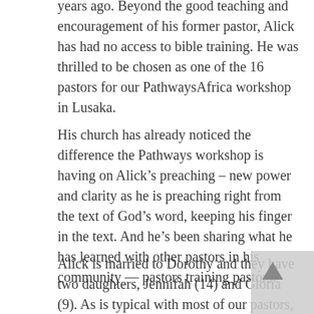years ago. Beyond the good teaching and encouragement of his former pastor, Alick has had no access to bible training. He was thrilled to be chosen as one of the 16 pastors for our PathwaysAfrica workshop in Lusaka.
His church has already noticed the difference the Pathways workshop is having on Alick's preaching – new power and clarity as he is preaching right from the text of God's word, keeping his finger in the text. And he's been sharing what he has learned with other pastors in his community — pastors training pastors!
Alick is married to Dorothy and they have two daughters, Jennifah (14) and Gloria (9). As is typical with most of our pastors, Alick's church is able to pay him very little. As a result, Alick is a 'tent-maker,' working a second job to make ends meet. In his case, Alick sets up a table several days each week on a sidewalk in the busy city center, selling inexpensive cell